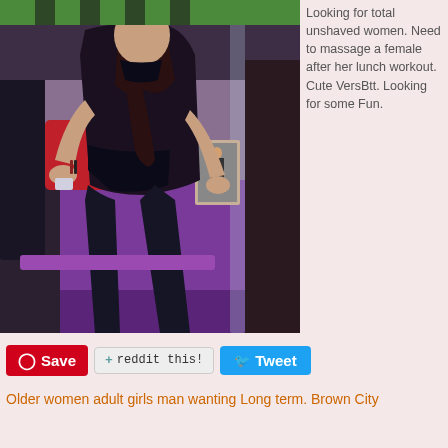[Figure (photo): Woman in black outfit sitting on a purple sofa/chair in what appears to be a lounge setting. She is wearing a black top and black leggings with bracelets. A framed photo is visible in the background along with red and dark decor.]
Looking for total unshaved women. Need to massage a female after her lunch workout. Cute VersBtt. Looking for some Fun.
Save
reddit this!
Tweet
Older women adult girls man wanting Long term. Brown City